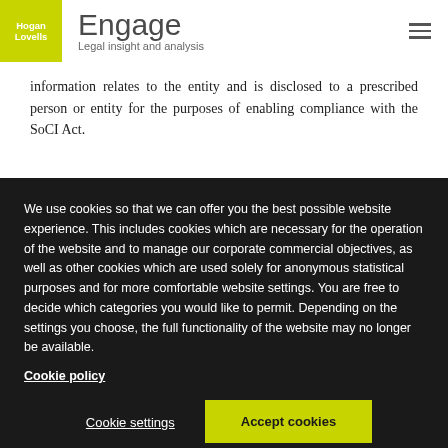Hogan Lovells | Engage — Legal insight and analysis
information relates to the entity and is disclosed to a prescribed person or entity for the purposes of enabling compliance with the SoCI Act.
We use cookies so that we can offer you the best possible website experience. This includes cookies which are necessary for the operation of the website and to manage our corporate commercial objectives, as well as other cookies which are used solely for anonymous statistical purposes and for more comfortable website settings. You are free to decide which categories you would like to permit. Depending on the settings you choose, the full functionality of the website may no longer be available.
Cookie policy
Cookie settings
Accept cookies